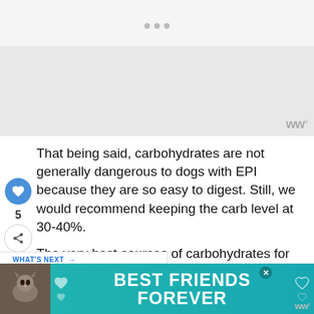[Figure (other): Navigation dots and gray image placeholder area with watermark logo]
That being said, carbohydrates are not generally dangerous to dogs with EPI because they are so easy to digest. Still, we would recommend keeping the carb level at 30-40%.
The very best sources of carbohydrates for your dog would have to be whole grains. Corn is not the best, although whole corn is also acceptable.
[Figure (screenshot): BEST FRIENDS FOREVER advertisement banner with cat photo and teal background]
Co... ed and